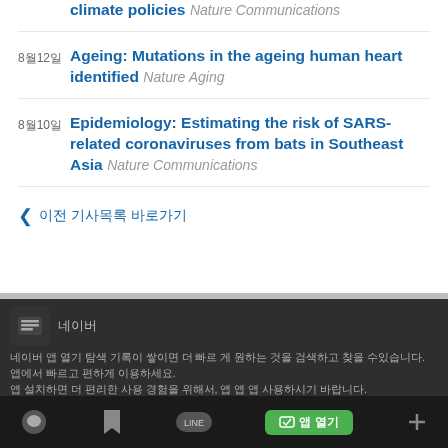climate policies  Nature Communications
8월12일  Ageing: Mutations in the ageing human heart identified  Nature Aging
8월10일  Epidemiology: Estimating the risk of SARS-related coronaviruses from bats in Southeast Asia  Nature Communications
◀ 이전 기사목록 바로가기
[Figure (screenshot): Mobile app bottom bar with app icon, Korean text description, and action buttons including LINE and a green button]
앱에서 로드 중입니다 앱에서 앱을 사용할 수 있는 앱을 설치하면 앱에서 앱을 사용할 수 있습니다. 앱을 사용하려면 앱을 다운로드 하고 앱을 사용, 앱 앱 앱 사용하시기 바랍니다.